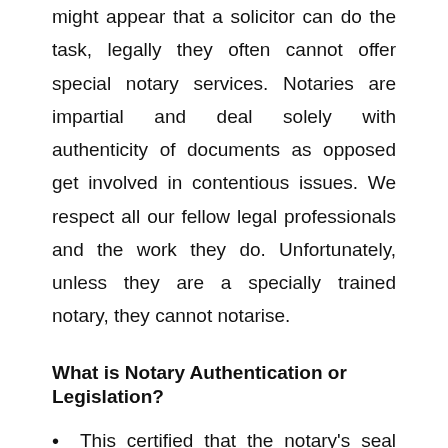might appear that a solicitor can do the task, legally they often cannot offer special notary services. Notaries are impartial and deal solely with authenticity of documents as opposed get involved in contentious issues. We respect all our fellow legal professionals and the work they do. Unfortunately, unless they are a specially trained notary, they cannot notarise.
What is Notary Authentication or Legislation?
This certified that the notary's seal and attestation are genuine. Namely, the